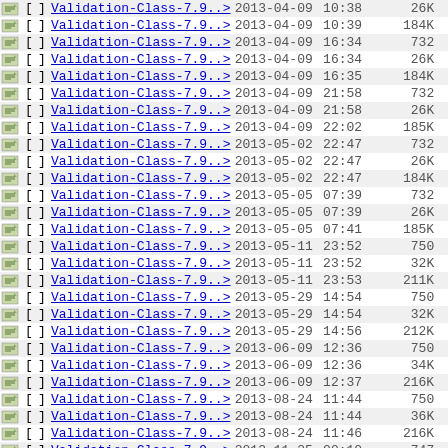| Icon |  |  | Name | Date | Time | Size |  |
| --- | --- | --- | --- | --- | --- | --- | --- |
| [img] | [ | ] | Validation-Class-7.9..> | 2013-04-09 | 10:38 | 26K |  |
| [img] | [ | ] | Validation-Class-7.9..> | 2013-04-09 | 10:39 | 184K |  |
| [img] | [ | ] | Validation-Class-7.9..> | 2013-04-09 | 16:34 | 732 |  |
| [img] | [ | ] | Validation-Class-7.9..> | 2013-04-09 | 16:34 | 26K |  |
| [img] | [ | ] | Validation-Class-7.9..> | 2013-04-09 | 16:35 | 184K |  |
| [img] | [ | ] | Validation-Class-7.9..> | 2013-04-09 | 21:58 | 732 |  |
| [img] | [ | ] | Validation-Class-7.9..> | 2013-04-09 | 21:58 | 26K |  |
| [img] | [ | ] | Validation-Class-7.9..> | 2013-04-09 | 22:02 | 185K |  |
| [img] | [ | ] | Validation-Class-7.9..> | 2013-05-02 | 22:47 | 732 |  |
| [img] | [ | ] | Validation-Class-7.9..> | 2013-05-02 | 22:47 | 26K |  |
| [img] | [ | ] | Validation-Class-7.9..> | 2013-05-02 | 22:47 | 184K |  |
| [img] | [ | ] | Validation-Class-7.9..> | 2013-05-05 | 07:39 | 732 |  |
| [img] | [ | ] | Validation-Class-7.9..> | 2013-05-05 | 07:39 | 26K |  |
| [img] | [ | ] | Validation-Class-7.9..> | 2013-05-05 | 07:41 | 185K |  |
| [img] | [ | ] | Validation-Class-7.9..> | 2013-05-11 | 23:52 | 750 |  |
| [img] | [ | ] | Validation-Class-7.9..> | 2013-05-11 | 23:52 | 32K |  |
| [img] | [ | ] | Validation-Class-7.9..> | 2013-05-11 | 23:53 | 211K |  |
| [img] | [ | ] | Validation-Class-7.9..> | 2013-05-29 | 14:54 | 750 |  |
| [img] | [ | ] | Validation-Class-7.9..> | 2013-05-29 | 14:54 | 32K |  |
| [img] | [ | ] | Validation-Class-7.9..> | 2013-05-29 | 14:56 | 212K |  |
| [img] | [ | ] | Validation-Class-7.9..> | 2013-06-09 | 12:36 | 750 |  |
| [img] | [ | ] | Validation-Class-7.9..> | 2013-06-09 | 12:36 | 34K |  |
| [img] | [ | ] | Validation-Class-7.9..> | 2013-06-09 | 12:37 | 216K |  |
| [img] | [ | ] | Validation-Class-7.9..> | 2013-08-24 | 11:44 | 750 |  |
| [img] | [ | ] | Validation-Class-7.9..> | 2013-08-24 | 11:44 | 36K |  |
| [img] | [ | ] | Validation-Class-7.9..> | 2013-08-24 | 11:46 | 216K |  |
| [img] | [ | ] | Validation-Class-7.9..> | 2013-11-25 | 00:10 | 747 |  |
| [img] | [ | ] | Validation-Class-7.9..> | 2013-11-25 | 00:10 | 36K |  |